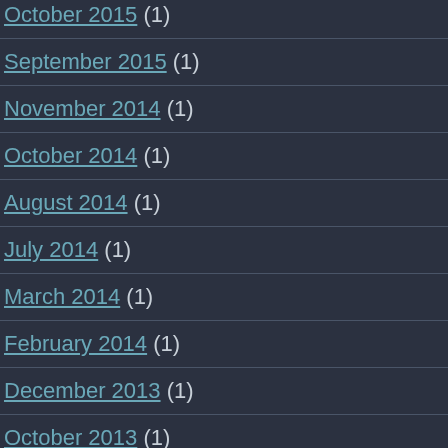October 2015 (1)
September 2015 (1)
November 2014 (1)
October 2014 (1)
August 2014 (1)
July 2014 (1)
March 2014 (1)
February 2014 (1)
December 2013 (1)
October 2013 (1)